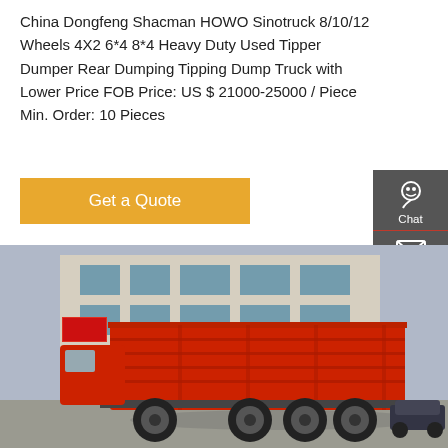China Dongfeng Shacman HOWO Sinotruck 8/10/12 Wheels 4X2 6*4 8*4 Heavy Duty Used Tipper Dumper Rear Dumping Tipping Dump Truck with Lower Price FOB Price: US $ 21000-25000 / Piece Min. Order: 10 Pieces
[Figure (other): Orange/gold 'Get a Quote' button]
[Figure (other): Right sidebar with Chat, Email, Contact, Top icons on dark grey background]
[Figure (photo): Photo of red heavy duty dump truck (tipper) parked in a commercial yard with buildings in background]